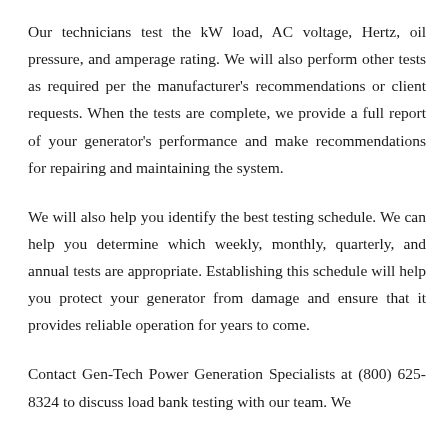Our technicians test the kW load, AC voltage, Hertz, oil pressure, and amperage rating. We will also perform other tests as required per the manufacturer's recommendations or client requests. When the tests are complete, we provide a full report of your generator's performance and make recommendations for repairing and maintaining the system.
We will also help you identify the best testing schedule. We can help you determine which weekly, monthly, quarterly, and annual tests are appropriate. Establishing this schedule will help you protect your generator from damage and ensure that it provides reliable operation for years to come.
Contact Gen-Tech Power Generation Specialists at (800) 625-8324 to discuss load bank testing with our team. We